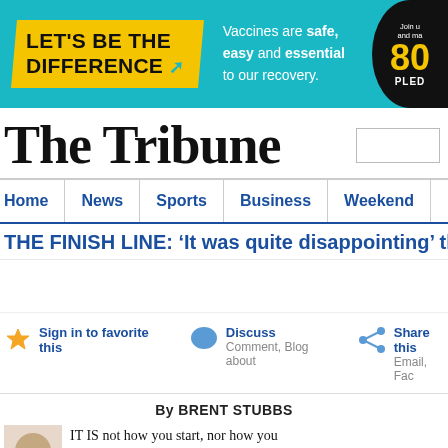[Figure (infographic): Teal banner advertisement: 'LET'S BE THE DIFFERENCE' in yellow skewed box with arrow, text 'Vaccines are safe, easy and essential to our recovery.' and a dark circle showing '80 PLED']
The Tribune
Home | News | Sports | Business | Weekend | Editorial
THE FINISH LINE: ‘It was quite disappointing’ th
Sign in to favorite this    Discuss Comment, Blog about    Share this Email, Fac
By BRENT STUBBS
IT IS not how you start, nor how you